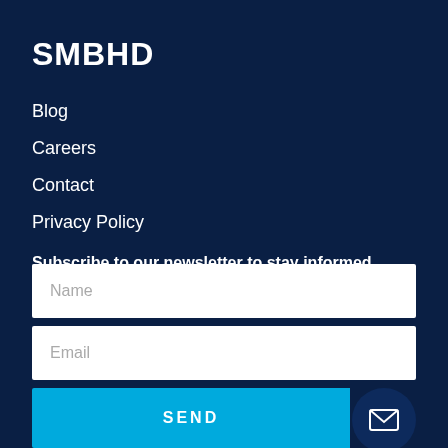SMBHD
Blog
Careers
Contact
Privacy Policy
Subscribe to our newsletter to stay informed about SMBHD Salesforce technology, news, and updates.
Name
Email
SEND